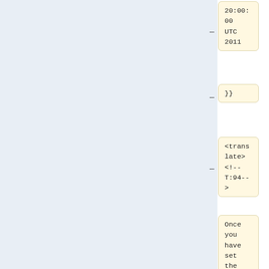20:00:00
UTC 2011
}}
<translate>
<!--T:94-->
Once you have set the system clock, it's a very good idea to copy the time to the hardware clock, so it persists across reboots:
</translate>